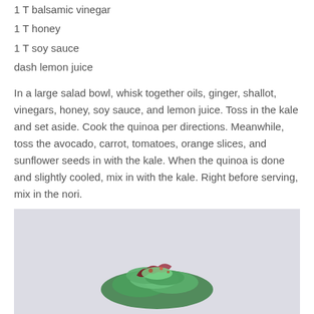1 T balsamic vinegar
1 T honey
1 T soy sauce
dash lemon juice
In a large salad bowl, whisk together oils, ginger, shallot, vinegars, honey, soy sauce, and lemon juice. Toss in the kale and set aside. Cook the quinoa per directions. Meanwhile, toss the avocado, carrot, tomatoes, orange slices, and sunflower seeds in with the kale. When the quinoa is done and slightly cooled, mix in with the kale. Right before serving, mix in the nori.
Note: this makes a good amount of dressing, so feel free to only use half, a tablespoon, whatever your heart desires. Just mix in more if desired and see where the wind takes you.
[Figure (photo): Photo of a salad with green kale and red/purple vegetables on a light purple/grey background, viewed from above]